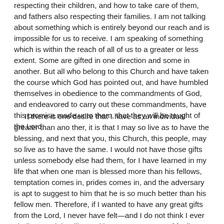respecting their children, and how to take care of them, and fathers also respecting their families. I am not talking about something which is entirely beyond our reach and is impossible for us to receive. I am speaking of something which is within the reach of all of us to a greater or less extent. Some are gifted in one direction and some in another. But all who belong to this Church and have taken the course which God has pointed out, and have humbled themselves in obedience to the commandments of God, and endeavored to carry out these commandments, have this promise made unto them, that they will be taught of the Lord.
If there is one desire that I have as an individual greater than ano ther, it is that I may so live as to have the blessing, and next that you, this Church, this people, may so live as to have the same. I would not have those gifts unless somebody else had them, for I have learned in my life that when one man is blessed more than his fellows, temptation comes in, prides comes in, and the adversary is apt to suggest to him that he is so much better than his fellow men. Therefore, if I wanted to have any great gifts from the Lord, I never have felt—and I do not think I ever shall, I certainly will not with my present state of feeling—to have these myself, I would like somebody else to have them also. I would not